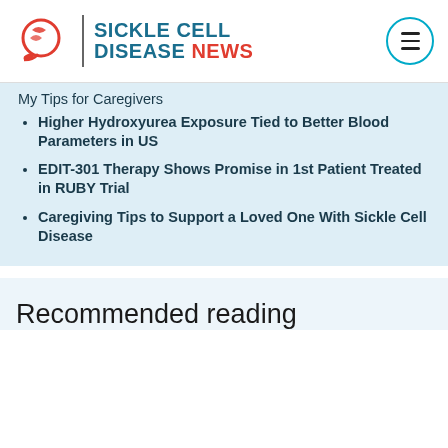SICKLE CELL DISEASE NEWS
My Tips for Caregivers
Higher Hydroxyurea Exposure Tied to Better Blood Parameters in US
EDIT-301 Therapy Shows Promise in 1st Patient Treated in RUBY Trial
Caregiving Tips to Support a Loved One With Sickle Cell Disease
Recommended reading